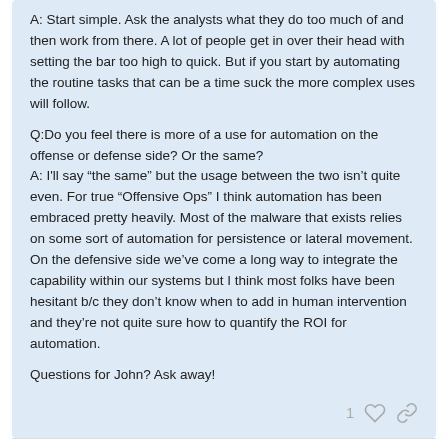A: Start simple. Ask the analysts what they do too much of and then work from there. A lot of people get in over their head with setting the bar too high to quick. But if you start by automating the routine tasks that can be a time suck the more complex uses will follow.

Q:Do you feel there is more of a use for automation on the offense or defense side? Or the same?
A: I'll say “the same” but the usage between the two isn’t quite even. For true “Offensive Ops” I think automation has been embraced pretty heavily. Most of the malware that exists relies on some sort of automation for persistence or lateral movement. On the defensive side we’ve come a long way to integrate the capability within our systems but I think most folks have been hesitant b/c they don’t know when to add in human intervention and they’re not quite sure how to quantify the ROI for automation.

Questions for John? Ask away!
Suggested Topics
1 / 1